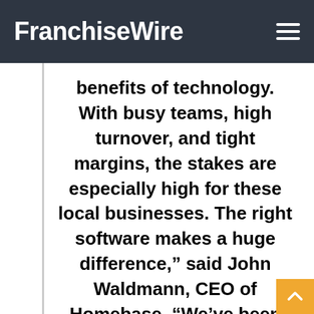FranchiseWire
benefits of technology. With busy teams, high turnover, and tight margins, the stakes are especially high for these local businesses. The right software makes a huge difference,” said John Waldmann, CEO of Homebase. “We’ve been there; everyone at Homebase has worked restaurant, retail, or service jobs and our family and